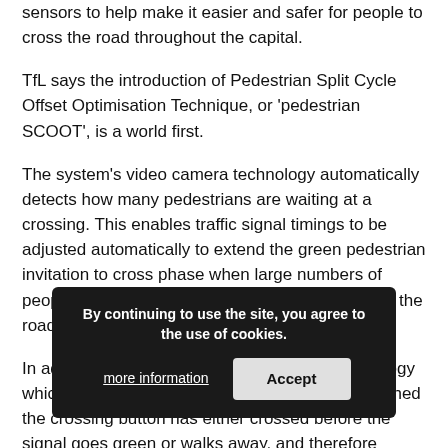sensors to help make it easier and safer for people to cross the road throughout the capital.
TfL says the introduction of Pedestrian Split Cycle Offset Optimisation Technique, or 'pedestrian SCOOT', is a world first.
The system's video camera technology automatically detects how many pedestrians are waiting at a crossing. This enables traffic signal timings to be adjusted automatically to extend the green pedestrian invitation to cross phase when large numbers of people are waiting, allowing more people to cross the road.
In addition, TfL is developing 'call cancel' technology which can detect when a pedestrian who has pushed the crossing button has either crossed before the signal goes green or walks away, and therefore can cancel than crossing phase.
This latest initiative follows TfL's successful development of